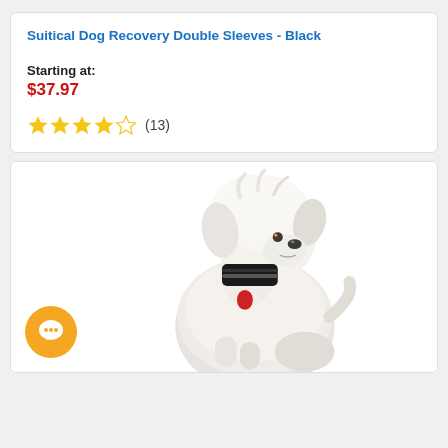Suitical Dog Recovery Double Sleeves - Black
Starting at:
$37.97
★★★★☆ (13)
[Figure (photo): A fluffy white dog sitting and looking upward, wearing a black collar/neck brace with a red detail visible on its chest.]